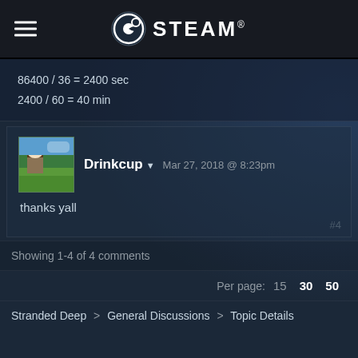STEAM
Drinkcup  Mar 27, 2018 @ 8:23pm
thanks yall
#4
Showing 1-4 of 4 comments
Per page:  15  30  50
Stranded Deep > General Discussions > Topic Details